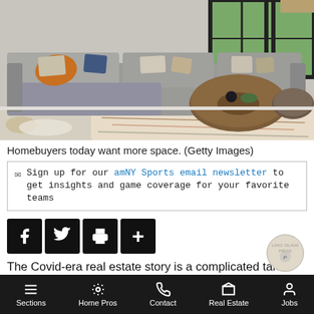[Figure (photo): Interior living room with large gray sectional sofa, colorful decorative pillows, round wooden coffee table, and patterned area rug. Windows with black frames visible in background.]
Homebuyers today want more space. (Getty Images)
Sign up for our amNY Sports email newsletter to get insights and game coverage for your favorite teams
[Figure (infographic): Social sharing buttons: Facebook, Twitter, Print, and More (+)]
The Covid-era real estate story is a complicated tale.
While the market was hit hard during the shutdown,
Sections | Home Pros | Contact | Real Estate | Jobs